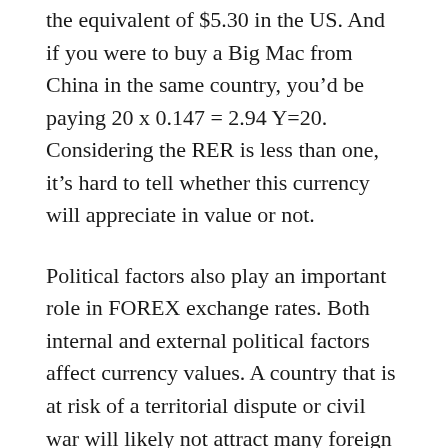the equivalent of $5.30 in the US. And if you were to buy a Big Mac from China in the same country, you'd be paying 20 x 0.147 = 2.94 Y=20. Considering the RER is less than one, it's hard to tell whether this currency will appreciate in value or not.
Political factors also play an important role in FOREX exchange rates. Both internal and external political factors affect currency values. A country that is at risk of a territorial dispute or civil war will likely not attract many foreign investors. A country experiencing economic hardship will experience dramatic declines in its currency's value. The government may intervene by freezing the currency's value, which can cause it to decrease significantly. The world's most volatile